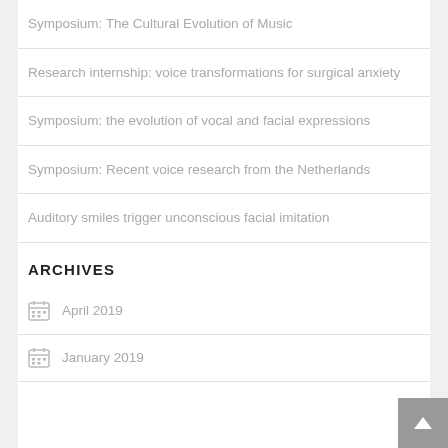Symposium: The Cultural Evolution of Music
Research internship: voice transformations for surgical anxiety
Symposium: the evolution of vocal and facial expressions
Symposium: Recent voice research from the Netherlands
Auditory smiles trigger unconscious facial imitation
ARCHIVES
April 2019
January 2019